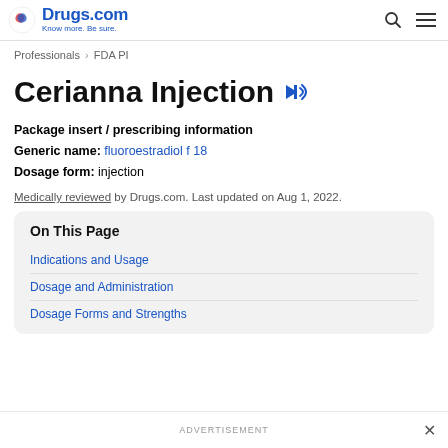Drugs.com — Know more. Be sure.
Professionals > FDA PI
Cerianna Injection
Package insert / prescribing information
Generic name: fluoroestradiol f 18
Dosage form: injection
Medically reviewed by Drugs.com. Last updated on Aug 1, 2022.
On This Page
Indications and Usage
Dosage and Administration
Dosage Forms and Strengths